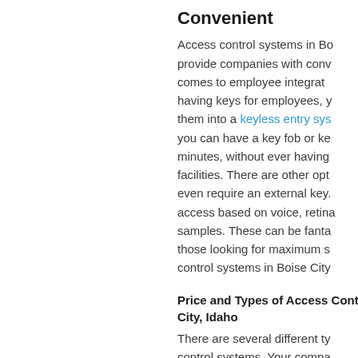Convenient
Access control systems in Boise City provide companies with convenience when it comes to employee integration. Instead of having keys for employees, you can convert them into a keyless entry system. With this, you can have a key fob or keycard ready in minutes, without ever having to rekey your facilities. There are other options that don't even require an external key. You can grant access based on voice, retina, or fingerprint samples. These can be fantastic options for those looking for maximum security. Access control systems in Boise City
Price and Types of Access Control in Boise City, Idaho
There are several different types of access control systems. Your company size and future growth plans will all a